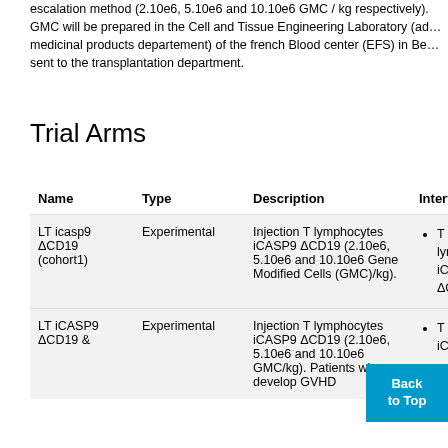escalation method (2.10e6, 5.10e6 and 10.10e6 GMC / kg respectively). GMC will be prepared in the Cell and Tissue Engineering Laboratory (advanced medicinal products departement) of the french Blood center (EFS) in Be… sent to the transplantation department.
Trial Arms
| Name | Type | Description | Interventions |
| --- | --- | --- | --- |
| LT icasp9 ΔCD19 (cohort1) | Experimental | Injection T lymphocytes iCASP9 ΔCD19 (2.10e6, 5.10e6 and 10.10e6 Gene Modified Cells (GMC)/kg). | • T lymphocytes iCASP9 ΔCD19 |
| LT iCASP9 ΔCD19 &… | Experimental | Injection T lymphocytes iCASP9 ΔCD19 (2.10e6, 5.10e6 and 10.10e6 GMC/kg). Patients who develop GVHD… | • T lymphocytes iCA… ΔC… |